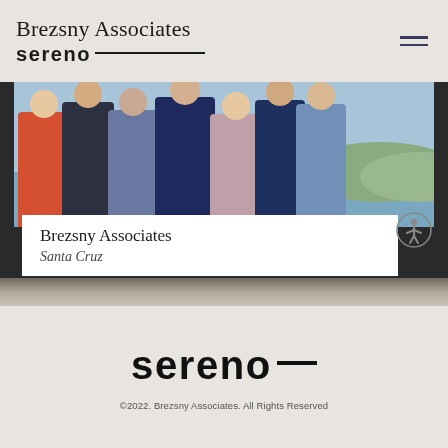Brezsny Associates sereno—
[Figure (photo): Group photo of Brezsny Associates team members posing outdoors near water, with a white caption overlay reading 'Brezsny Associates Santa Cruz']
sereno—
©2022. Brezsny Associates. All Rights Reserved